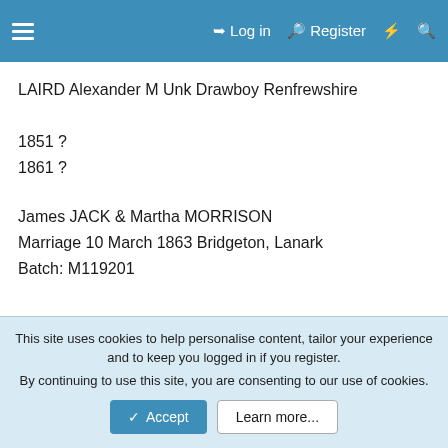☰   Log in   Register   ⚡   🔍
LAIRD Alexander M Unk Drawboy Renfrewshire
1851 ?
1861 ?
James JACK & Martha MORRISON
Marriage 10 March 1863 Bridgeton, Lanark
Batch: M119201
I'd like a look up please for any record of James being in the Army.
This site uses cookies to help personalise content, tailor your experience and to keep you logged in if you register.
By continuing to use this site, you are consenting to our use of cookies.